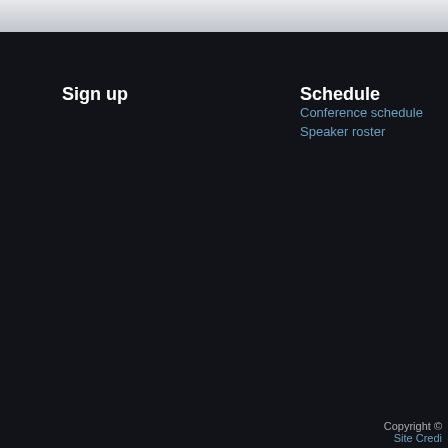Sign up
Schedule
Conference schedule
Speaker roster
Copyright © 
Site Credi